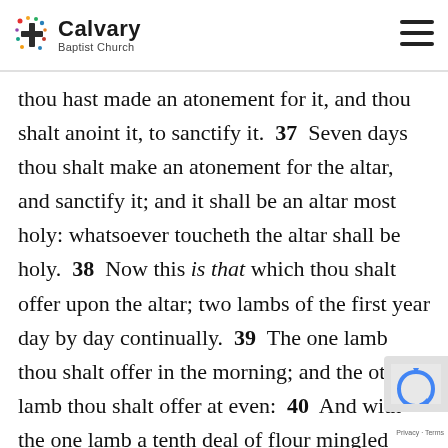Calvary Baptist Church
thou hast made an atonement for it, and thou shalt anoint it, to sanctify it.  37  Seven days thou shalt make an atonement for the altar, and sanctify it; and it shall be an altar most holy: whatsoever toucheth the altar shall be holy.  38  Now this is that which thou shalt offer upon the altar; two lambs of the first year day by day continually.  39  The one lamb thou shalt offer in the morning; and the other lamb thou shalt offer at even:  40  And with the one lamb a tenth deal of flour mingled with the fourth part of an hin of beaten oil; and the fourth part of an hin of wine for a drink offering.  41  And the other lamb thou shalt offer at even, and shalt do thereto according to the meat offering of the morning, and according to the drink offering thereof, for a sweet savour, an offering made by fire unto the LORD.  42  This shall be a continual